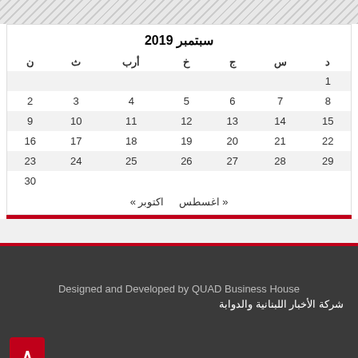| د | س | ج | خ | أرب | ث | ن |
| --- | --- | --- | --- | --- | --- | --- |
| 1 |  |  |  |  |  |  |
| 8 | 7 | 6 | 5 | 4 | 3 | 2 |
| 15 | 14 | 13 | 12 | 11 | 10 | 9 |
| 22 | 21 | 20 | 19 | 18 | 17 | 16 |
| 29 | 28 | 27 | 26 | 25 | 24 | 23 |
|  |  |  |  |  |  | 30 |
« اغسطس   اكتوبر »
Designed and Developed by QUAD Business House
شركة الأخبار اللبنانية والدوابة